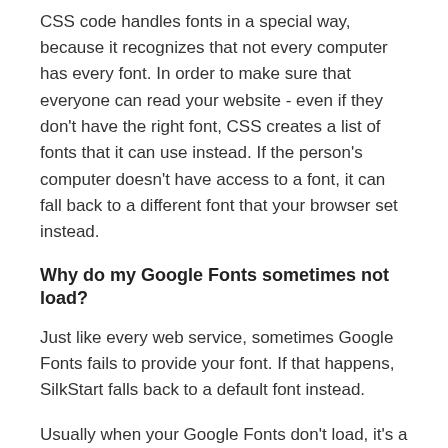sizes, fonts, alignment, etc. to use for every part of your website.
CSS code handles fonts in a special way, because it recognizes that not every computer has every font. In order to make sure that everyone can read your website - even if they don't have the right font, CSS creates a list of fonts that it can use instead. If the person's computer doesn't have access to a font, it can fall back to a different font that your browser set instead.
Why do my Google Fonts sometimes not load?
Just like every web service, sometimes Google Fonts fails to provide your font. If that happens, SilkStart falls back to a default font instead.
Usually when your Google Fonts don't load, it's a brief issue - either the connection failed, or their service is experiencing a high volume of traffic and this is slowing downloading time.